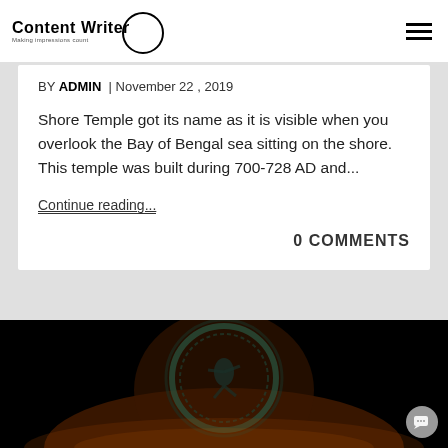Content Writer | Making impressions count
BY ADMIN | November 22 , 2019
Shore Temple got its name as it is visible when you overlook the Bay of Bengal sea sitting on the shore. This temple was built during 700-728 AD and...
Continue reading...
0 COMMENTS
[Figure (photo): Dark artistic image of Nataraja (dancing Shiva) bronze sculpture against black background with fire tones]